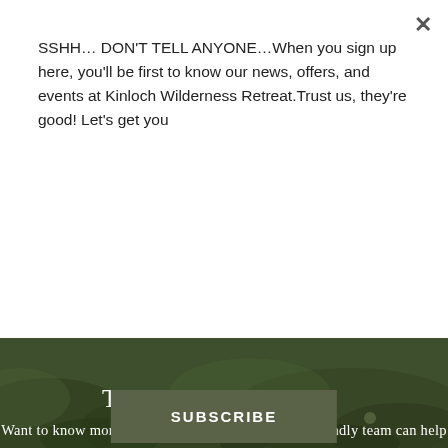SSHH… DON'T TELL ANYONE…When you sign up here, you'll be first to know our news, offers, and events at Kinloch Wilderness Retreat.Trust us, they're good! Let's get you
SUBSCRIBE
stunning part of NZ, please send your CV to hr@kinlochlodge.co.nz
TALK TO US!
Want to know more about us before booking? Our friendly team can help